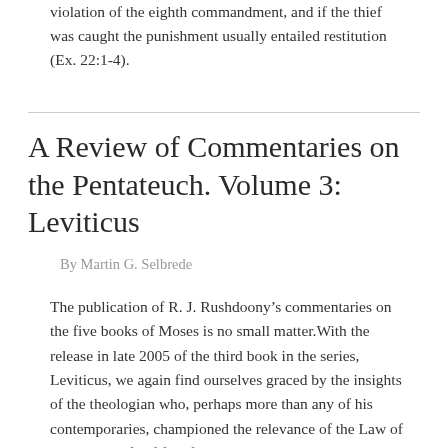violation of the eighth commandment, and if the thief was caught the punishment usually entailed restitution (Ex. 22:1-4).
A Review of Commentaries on the Pentateuch. Volume 3: Leviticus
By Martin G. Selbrede
The publication of R. J. Rushdoony’s commentaries on the five books of Moses is no small matter. With the release in late 2005 of the third book in the series, Leviticus, we again find ourselves graced by the insights of the theologian who, perhaps more than any of his contemporaries, championed the relevance of the Law of God in the life of faithful Christians.